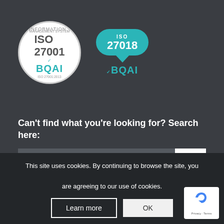[Figure (logo): ISO 27001 BQAI certification badge (circle) and ISO 27018 BQAI certification badge (cloud shape)]
Can't find what you're looking for? Search here:
[Figure (screenshot): Search input box with placeholder text 'Search' and a search button with magnifying glass icon]
This site uses cookies. By continuing to browse the site, you are agreeing to our use of cookies.
Learn more
OK
Microsoft Gold Partner
[Figure (logo): reCAPTCHA badge showing Privacy - Terms]